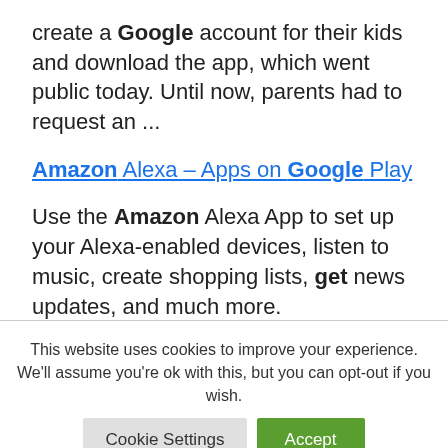create a Google account for their kids and download the app, which went public today. Until now, parents had to request an ...
Amazon Alexa – Apps on Google Play
Use the Amazon Alexa App to set up your Alexa-enabled devices, listen to music, create shopping lists, get news updates, and much more.
This website uses cookies to improve your experience. We'll assume you're ok with this, but you can opt-out if you wish.
Cookie Settings | Accept